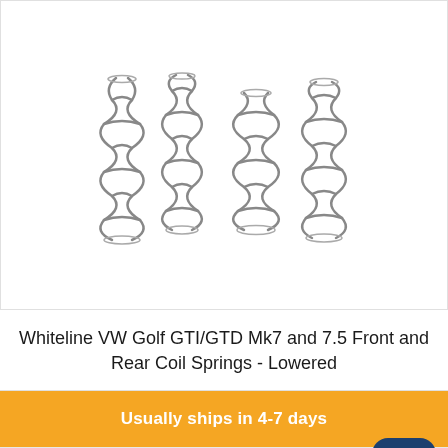[Figure (photo): Four metallic coil springs (lowering springs) arranged side by side on a white background. Two taller springs on the left and two slightly shorter/wider springs on the right.]
Whiteline VW Golf GTI/GTD Mk7 and 7.5 Front and Rear Coil Springs - Lowered
Usually ships in 4-7 days
$5